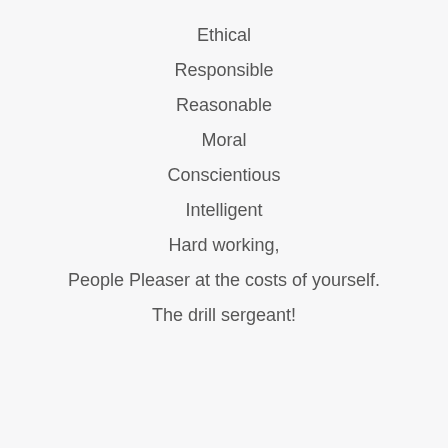Ethical
Responsible
Reasonable
Moral
Conscientious
Intelligent
Hard working,
People Pleaser at the costs of yourself.
The drill sergeant!